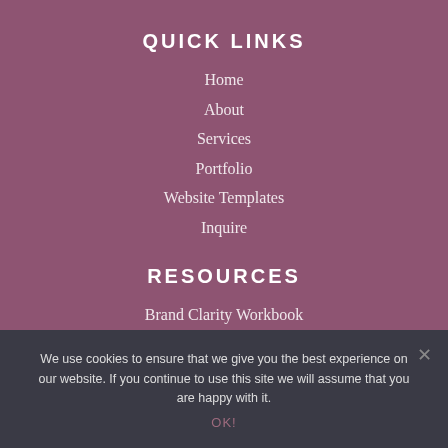QUICK LINKS
Home
About
Services
Portfolio
Website Templates
Inquire
RESOURCES
Brand Clarity Workbook
SEO Masterclass
Blogging Course
We use cookies to ensure that we give you the best experience on our website. If you continue to use this site we will assume that you are happy with it.
OK!